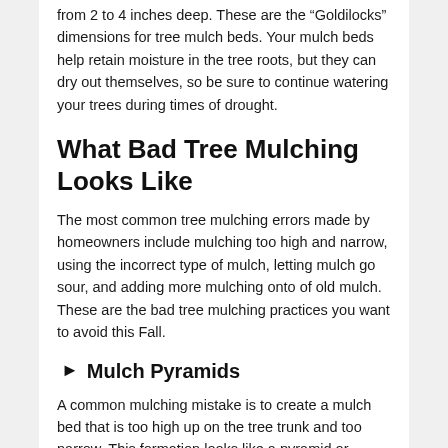from 2 to 4 inches deep. These are the “Goldilocks” dimensions for tree mulch beds. Your mulch beds help retain moisture in the tree roots, but they can dry out themselves, so be sure to continue watering your trees during times of drought.
What Bad Tree Mulching Looks Like
The most common tree mulching errors made by homeowners include mulching too high and narrow, using the incorrect type of mulch, letting mulch go sour, and adding more mulching onto of old mulch. These are the bad tree mulching practices you want to avoid this Fall.
►  Mulch Pyramids
A common mulching mistake is to create a mulch bed that is too high up on the tree trunk and too narrow. This formation looks like a pyramid or volcano. This traps